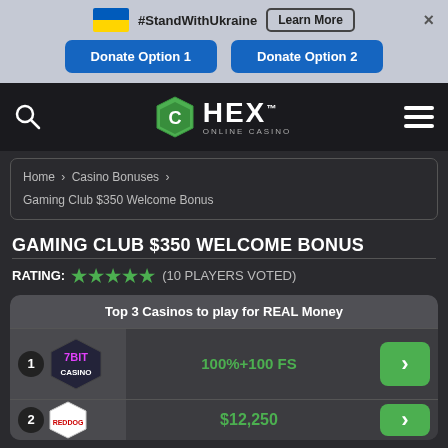#StandWithUkraine  Learn More  ×  Donate Option 1  Donate Option 2
[Figure (logo): HEX Online Casino logo with green hexagon icon]
Home › Casino Bonuses › Gaming Club $350 Welcome Bonus
GAMING CLUB $350 WELCOME BONUS
RATING: ★★★★★ (10 players voted)
| # | Casino | Offer |  |
| --- | --- | --- | --- |
| 1 | 7Bit Casino | 100%+100 FS | › |
| 2 | RedDog | $12,250 | › |